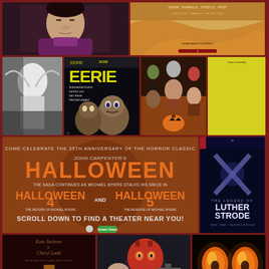[Figure (photo): Asian male actor in purple jacket, dramatic lighting]
[Figure (photo): Movie poster with credits - names DOUR DANIELS STEELE FAST visible at top]
[Figure (photo): Black and white horror image of a figure]
[Figure (photo): EERIE horror comic book cover with monster characters in yellow text]
[Figure (illustration): Horror collage illustration with multiple Halloween characters]
[Figure (photo): Yellow vintage horror movie poster with creature]
[Figure (photo): John Carpenter's Halloween 35th anniversary promotion - orange background with Halloween 4 and Halloween 5 text, Screen Vision logo, SCROLL DOWN TO FIND A THEATER NEAR YOU]
[Figure (photo): The Legend of Luther Strode comic book cover with X mark on dark blue background]
[Figure (photo): Kate Jackson and Cheryl Ladd dark movie poster with inverted cross]
[Figure (photo): Hellboy character with red face and gun]
[Figure (photo): Orange glowing jack-o-lantern eyes on dark background]